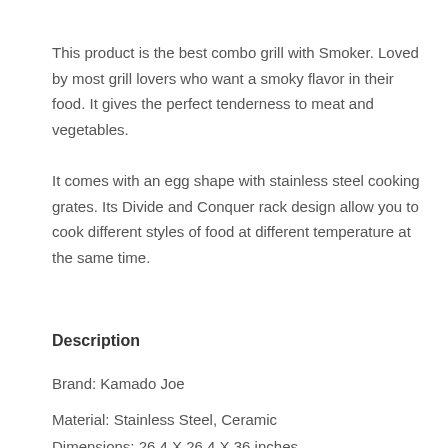This product is the best combo grill with Smoker. Loved by most grill lovers who want a smoky flavor in their food. It gives the perfect tenderness to meat and vegetables.
It comes with an egg shape with stainless steel cooking grates. Its Divide and Conquer rack design allow you to cook different styles of food at different temperature at the same time.
Description
Brand: Kamado Joe
Material: Stainless Steel, Ceramic
Dimensions: 26.4 X 26.4 X 36 inches